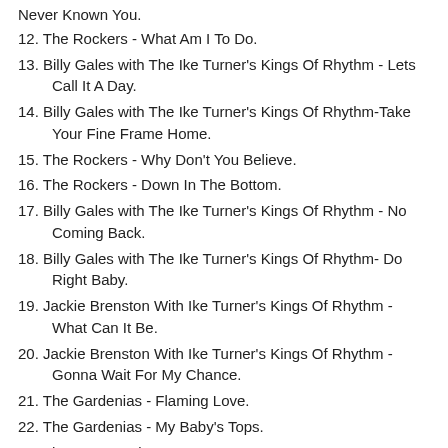Never Known You.
12. The Rockers - What Am I To Do.
13. Billy Gales with The Ike Turner's Kings Of Rhythm - Lets Call It A Day.
14. Billy Gales with The Ike Turner's Kings Of Rhythm-Take Your Fine Frame Home.
15. The Rockers - Why Don't You Believe.
16. The Rockers - Down In The Bottom.
17. Billy Gales with The Ike Turner's Kings Of Rhythm - No Coming Back.
18. Billy Gales with The Ike Turner's Kings Of Rhythm- Do Right Baby.
19. Jackie Brenston With Ike Turner's Kings Of Rhythm - What Can It Be.
20. Jackie Brenston With Ike Turner's Kings Of Rhythm - Gonna Wait For My Chance.
21. The Gardenias - Flaming Love.
22. The Gardenias - My Baby's Tops.
23. The Starr's - Ain't Got No Home.
24. The Starr's - Crying Over You.
25. Billy Gales with The Ike Turner's Kings Of Rhythm - Sad As A